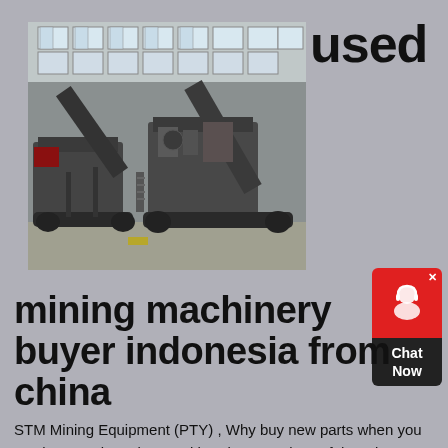used
[Figure (photo): Industrial mining machinery — two large mobile crushing/screening units with conveyors parked inside a large warehouse/factory building with tall windows]
[Figure (other): Chat Now widget — red circular icon with headset graphic on red background, Chat Now text on dark background below]
mining machinery buyer indonesia from china
STM Mining Equipment (PTY) , Why buy new parts when you can buy good used second hand parts at less of the price? Our